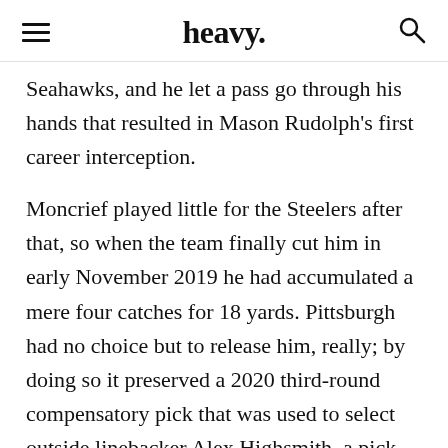heavy.
Seahawks, and he let a pass go through his hands that resulted in Mason Rudolph's first career interception.
Moncrief played little for the Steelers after that, so when the team finally cut him in early November 2019 he had accumulated a mere four catches for 18 yards. Pittsburgh had no choice but to release him, really; by doing so it preserved a 2020 third-round compensatory pick that was used to select outside linebacker Alex Highsmith, a pick that the team was scheduled to lose after the Philadelphia Eagles released ex-Steelers linebacker L.J. Fort in a surprise